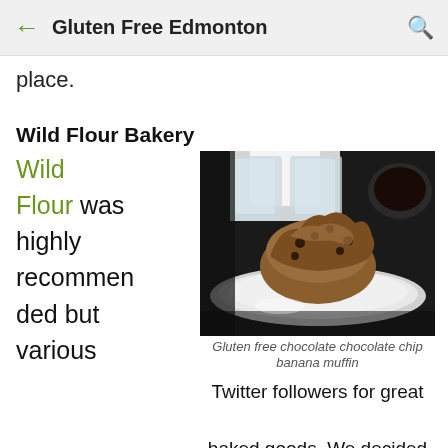← Gluten Free Edmonton 🔍
place.
Wild Flour Bakery
Wild Flour was highly recommended but various
[Figure (photo): Photo of a gluten free chocolate chocolate chip banana muffin on a white plate, with water glasses and a coffee cup in the background]
Gluten free chocolate chocolate chip banana muffin
Twitter followers for great baked goods.  We decided to go